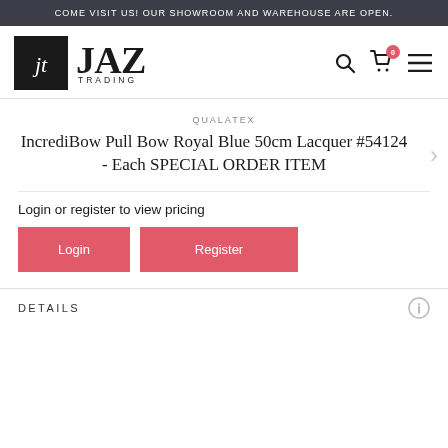COME VISIT US! OUR SHOWROOM AND WAREHOUSE ARE OPEN.
[Figure (logo): JAZ Trading logo with stylized 'jt' monogram in black box and 'JAZ TRADING' text]
IncrediBow Pull Bow Royal Blue 50cm Lacquer #54124 - Each SPECIAL ORDER ITEM
QUALATEX
Login or register to view pricing
Login
Register
DETAILS